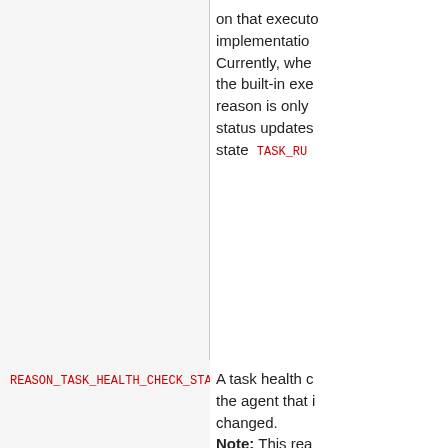on that executor implementation. Currently, when the built-in executor reason is only status updates state TASK_RU...
REASON_TASK_HEALTH_CHECK_STATUS_UPDATED
A task health check the agent that is changed. Note: This reason the executor, s that are running custom executor not status updates reasons are se on that executor implementation. Currently, when the built-in exe reason is only status updates...